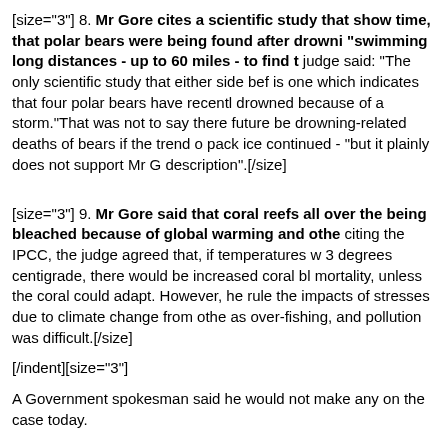[size="3"] 8. Mr Gore cites a scientific study that show time, that polar bears were being found after drowni "swimming long distances - up to 60 miles - to find t judge said: "The only scientific study that either side bef is one which indicates that four polar bears have recentl drowned because of a storm."That was not to say there future be drowning-related deaths of bears if the trend o pack ice continued - "but it plainly does not support Mr G description".[/size]
[size="3"] 9. Mr Gore said that coral reefs all over the being bleached because of global warming and othe citing the IPCC, the judge agreed that, if temperatures w 3 degrees centigrade, there would be increased coral bl mortality, unless the coral could adapt. However, he rule the impacts of stresses due to climate change from othe as over-fishing, and pollution was difficult.[/size]
[/indent][size="3"]
A Government spokesman said he would not make any on the case today.